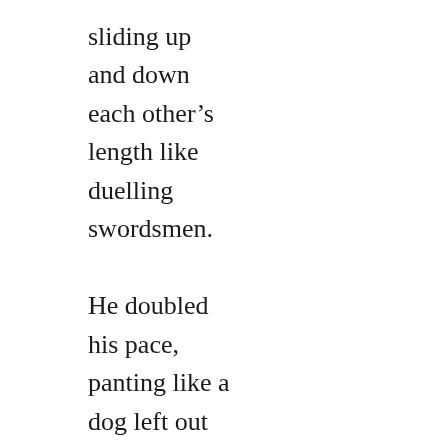sliding up
and down
each other's
length like
duelling
swordsmen.

He doubled
his pace,
panting like a
dog left out
too long in
the sun, his
breath
coming in